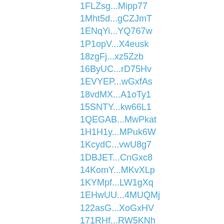1FLZsg...Mipp77
1Mht5d...gCZJmT
1ENqYi...YQ767w
1P1opV...X4eusk
18zgFj...xz5Zzb
16ByUC...rD75Hv
1EVYEP...wGxfAs
18vdMX...A1oTy1
15SNTY...kw66L1
1QEGAB...MwPkat
1H1H1y...MPuk6W
1KcydC...vwU8g7
1DBJET...CnGxc8
14KomY...MKvXLp
1KYMpf...LW1gXq
1EHwUU...4MUQMj
122asG...XoGxHV
171RHf...RW5KNh
1QCxFL...2Xe3NA
1AMYCy...erTJV5
1VZGAZ...cc5Mer
1uCMQ6...n9b9Gy
179aNv...a2AnxT